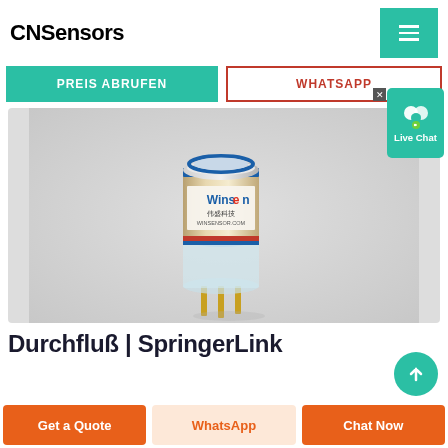CNSensors
PREIS ABRUFEN
WHATSAPP
[Figure (photo): A cylindrical Winson gas sensor with transparent plastic casing, blue and red bands on top, label reading 'Winson 伟盛科技 WINSENSOR.COM', and gold pins at the bottom, on a grey background.]
Durchfluß | SpringerLink
Get a Quote
WhatsApp
Chat Now